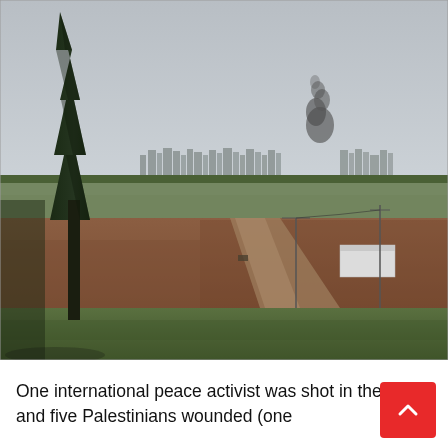[Figure (photo): Outdoor landscape photograph taken from an elevated position showing agricultural fields (green grass in foreground, plowed reddish-brown earth in middle ground), a dirt road, utility poles, a small white structure, and a city skyline in the distant background with dark smoke rising into an overcast grey sky. A tall dark cypress or pine tree stands prominently on the left side of the image.]
One international peace activist was shot in the leg, and five Palestinians wounded (one